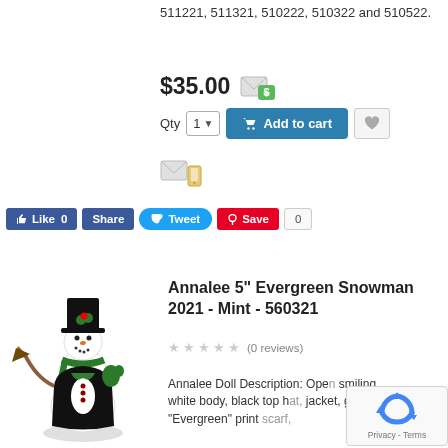511221, 511321, 510222, 510322 and 510522.
$35.00
[Figure (screenshot): Qty selector with '1', Add to cart button, and wishlist heart button]
[Figure (screenshot): Social sharing buttons: Like 0, Share (Facebook), Tweet (Twitter), Save (Pinterest) with count 0]
[Figure (photo): Annalee 5 inch Evergreen Snowman figurine with black top hat, green scarf, holding broom]
Annalee 5" Evergreen Snowman 2021 - Mint - 560321
(0 reviews)
Annalee Doll Description: Open smiling, white body, black top h... jacket, green "Evergreen" print ...